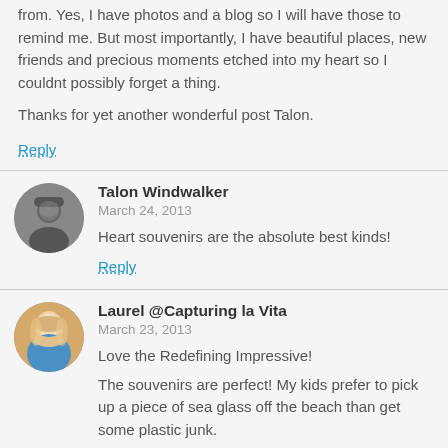from. Yes, I have photos and a blog so I will have those to remind me. But most importantly, I have beautiful places, new friends and precious moments etched into my heart so I couldnt possibly forget a thing.

Thanks for yet another wonderful post Talon.
Reply
Talon Windwalker
March 24, 2013
Heart souvenirs are the absolute best kinds!
Reply
Laurel @Capturing la Vita
March 23, 2013
Love the Redefining Impressive!
The souvenirs are perfect! My kids prefer to pick up a piece of sea glass off the beach than get some plastic junk.
Reply